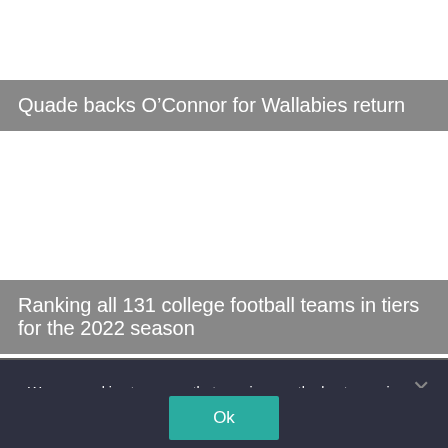Quade backs O’Connor for Wallabies return
Ranking all 131 college football teams in tiers for the 2022 season
We use cookies to ensure that we give you the best experience on our website. If you continue to use this site we will assume that you are happy with it.
Ok